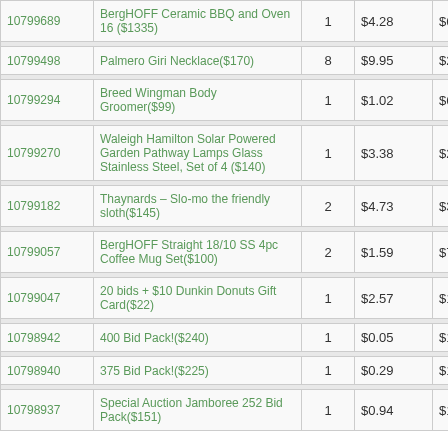| ID | Item | Qty | Price | Value |
| --- | --- | --- | --- | --- |
| 10799689 | BergHOFF Ceramic BBQ and Oven 16 ($1335) | 1 | $4.28 | $6.72 |
| 10799498 | Palmero Giri Necklace($170) | 8 | $9.95 | $22.19 |
| 10799294 | Breed Wingman Body Groomer($99) | 1 | $1.02 | $6.13 |
| 10799270 | Waleigh Hamilton Solar Powered Garden Pathway Lamps Glass Stainless Steel, Set of 4 ($140) | 1 | $3.38 | $27.61 |
| 10799182 | Thaynards – Slo-mo the friendly sloth($145) | 2 | $4.73 | $35.38 |
| 10799057 | BergHOFF Straight 18/10 SS 4pc Coffee Mug Set($100) | 2 | $1.59 | $7.89 |
| 10799047 | 20 bids + $10 Dunkin Donuts Gift Card($22) | 1 | $2.57 | $11.56 |
| 10798942 | 400 Bid Pack!($240) | 1 | $0.05 | $1.45 |
| 10798940 | 375 Bid Pack!($225) | 1 | $0.29 | $15.86 |
| 10798937 | Special Auction Jamboree 252 Bid Pack($151) | 1 | $0.94 | $1.11 |